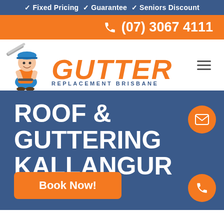✓ Fixed Pricing ✓ Guarantee ✓ Seniors Discount
(07) 3067 4111
[Figure (logo): Gutter Replacement Brisbane logo with cartoon mascot holding guttering, orange GUTTER text in italic bold, blue REPLACEMENT BRISBANE subtitle]
ROOF & GUTTERING KALLANGUR
Book Now!